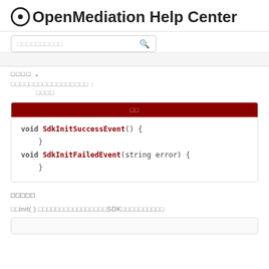OpenMediation Help Center
搜索
首页 ∨
最后一次成功的初始化中文标签: 首页
[Figure (screenshot): Code block with dark red tab header labeled '代码' showing C# code: void SdkInitSuccessEvent() { } void SdkInitFailedEvent(string error) { }]
注意事项
调用init( ) 函数后，异步返回结果，然后调用SDK后续功能函数
[Figure (screenshot): Empty code block snippet at bottom]